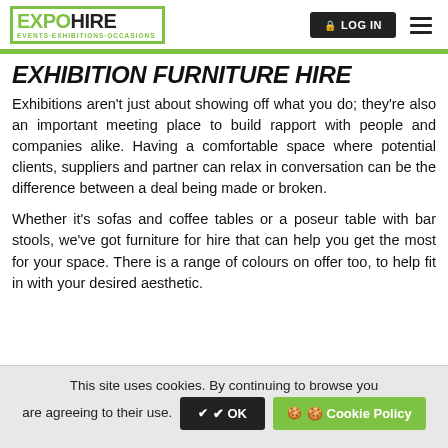EXPOHIRE EVENTS-EXHIBITIONS-OCCASIONS | LOG IN
EXHIBITION FURNITURE HIRE
Exhibitions aren't just about showing off what you do; they're also an important meeting place to build rapport with people and companies alike. Having a comfortable space where potential clients, suppliers and partner can relax in conversation can be the difference between a deal being made or broken.
Whether it's sofas and coffee tables or a poseur table with bar stools, we've got furniture for hire that can help you get the most for your space. There is a range of colours on offer too, to help fit in with your desired aesthetic.
This site uses cookies. By continuing to browse you are agreeing to their use. ✔ OK 🍪 Cookie Policy